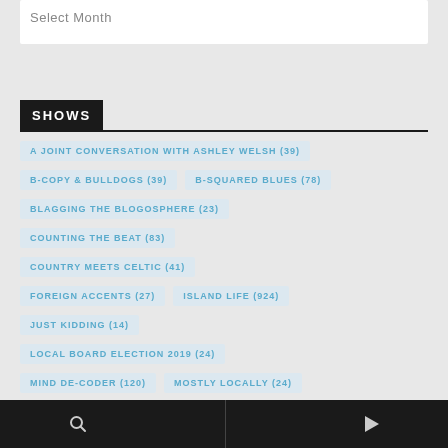Select Month
SHOWS
A JOINT CONVERSATION WITH ASHLEY WELSH (39)
B-COPY & BULLDOGS (39)
B-SQUARED BLUES (78)
BLAGGING THE BLOGOSPHERE (23)
COUNTING THE BEAT (83)
COUNTRY MEETS CELTIC (41)
FOREIGN ACCENTS (27)
ISLAND LIFE (924)
JUST KIDDING (14)
LOCAL BOARD ELECTION 2019 (24)
MIND DE-CODER (120)
MOSTLY LOCALLY (24)